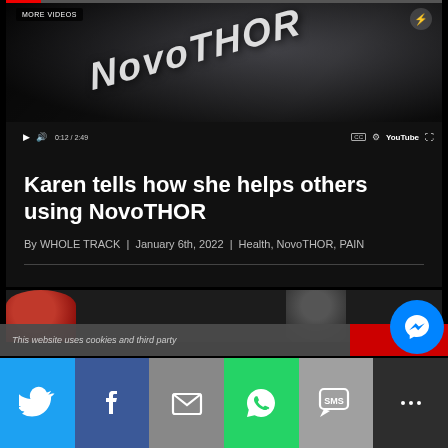[Figure (screenshot): YouTube video player showing NovoTHOR product with controls showing 0:12 / 2:49, MORE VIDEOS label, progress bar, CC, settings, YouTube logo, and fullscreen button]
Karen tells how she helps others using NovoTHOR
By WHOLE TRACK | January 6th, 2022 | Health, NovoTHOR, PAIN
[Figure (photo): Partial article image strip at bottom of article section]
This website uses cookies and third party
[Figure (infographic): Social sharing bar with Twitter, Facebook, Email, WhatsApp, SMS, and Messenger buttons. Messenger chat button also visible as floating blue circle.]